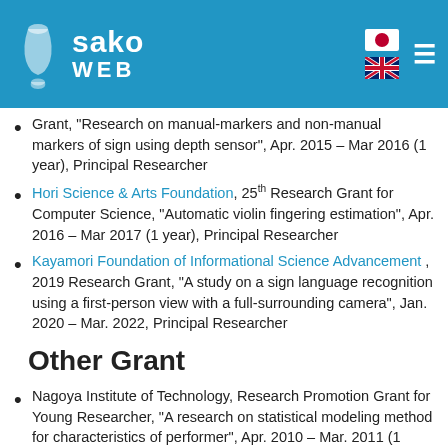sako WEB
Grant, "Research on manual-markers and non-manual markers of sign using depth sensor", Apr. 2015 – Mar 2016 (1 year), Principal Researcher
Hori Science & Arts Foundation, 25th Research Grant for Computer Science, "Automatic violin fingering estimation", Apr. 2016 – Mar 2017 (1 year), Principal Researcher
Kayamori Foundation of Informational Science Advancement , 2019 Research Grant, "A study on a sign language recognition using a first-person view with a full-surrounding camera", Jan. 2020 – Mar. 2022, Principal Researcher
Other Grant
Nagoya Institute of Technology, Research Promotion Grant for Young Researcher, "A research on statistical modeling method for characteristics of performer", Apr. 2010 – Mar. 2011 (1 year), Principal Researcher
Nagoya Institute of Technology, Research Promotion Grant for Young Researcher, "Research on performance